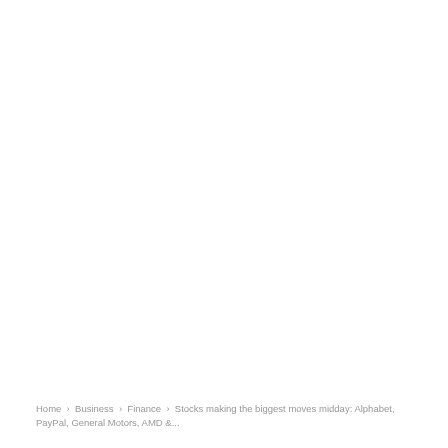Home › Business › Finance › Stocks making the biggest moves midday: Alphabet, PayPal, General Motors, AMD &...